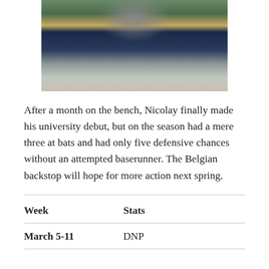[Figure (photo): A baseball catcher in navy and gold uniform in crouching position on the field, wearing full catcher's gear including helmet and chest protector.]
After a month on the bench, Nicolay finally made his university debut, but on the season had a mere three at bats and had only five defensive chances without an attempted baserunner. The Belgian backstop will hope for more action next spring.
| Week | Stats |
| --- | --- |
| March 5-11 | DNP |